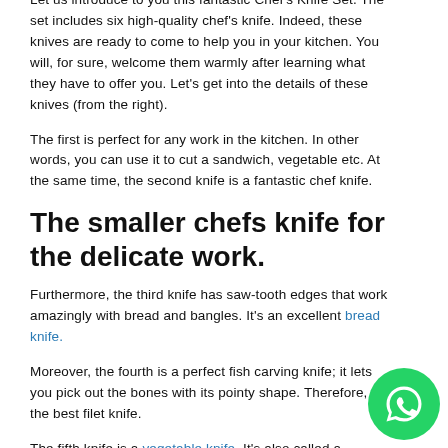Let us introduce to you this fantastic Chef's Knife Set. The set includes six high-quality chef's knife. Indeed, these knives are ready to come to help you in your kitchen. You will, for sure, welcome them warmly after learning what they have to offer you. Let's get into the details of these knives (from the right).
The first is perfect for any work in the kitchen. In other words, you can use it to cut a sandwich, vegetable etc. At the same time, the second knife is a fantastic chef knife.
The smaller chefs knife for the delicate work.
Furthermore, the third knife has saw-tooth edges that work amazingly with bread and bangles. It's an excellent bread knife.
Moreover, the fourth is a perfect fish carving knife; it lets you pick out the bones with its pointy shape. Therefore, it's the best filet knife.
The fifth knife is a vegetable knife. It's also called a cleaver. It gives accurate and thin slices of vegetables that go beautifully on the plate. Undoubtedly, the knife works magically.